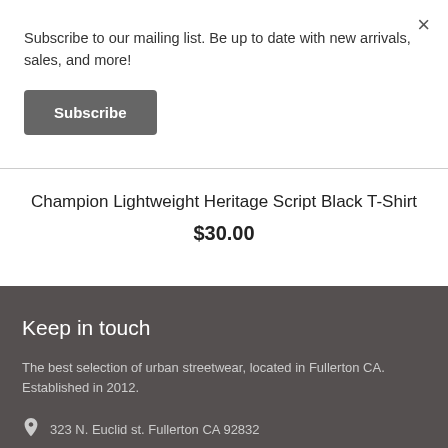Subscribe to our mailing list. Be up to date with new arrivals, sales, and more!
Subscribe
Champion Lightweight Heritage Script Black T-Shirt
$30.00
Keep in touch
The best selection of urban streetwear, located in Fullerton CA. Established in 2012.
323 N. Euclid st. Fullerton CA 92832